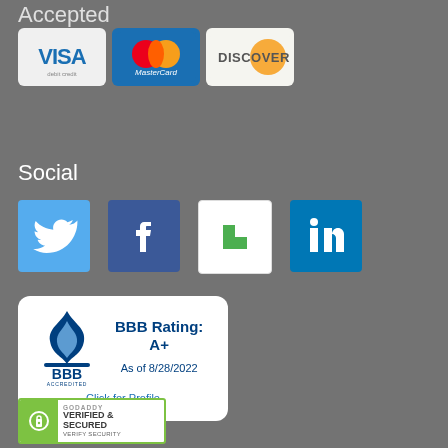Accepted
[Figure (logo): Visa, MasterCard, and Discover payment card logos]
Social
[Figure (logo): Twitter, Facebook, Houzz, and LinkedIn social media icons]
[Figure (logo): BBB Accredited Business badge — BBB Rating: A+ As of 8/28/2022 — Click for Profile]
[Figure (logo): GoDaddy Verified & Secured — Verify Security badge]